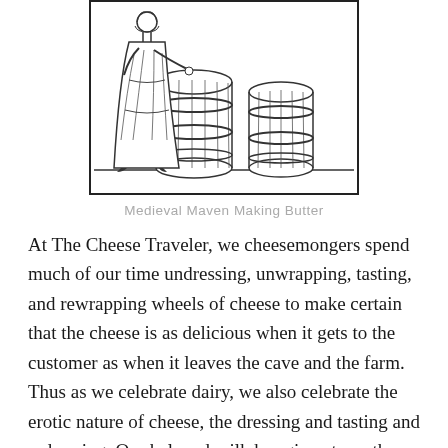[Figure (illustration): Medieval woodcut-style black and white illustration showing a medieval figure (woman/maven) making butter, with large wooden barrels/churns beside her.]
Medieval Maven Making Butter
At The Cheese Traveler, we cheesemongers spend much of our time undressing, unwrapping, tasting, and rewrapping wheels of cheese to make certain that the cheese is as delicious when it gets to the customer as when it leaves the cave and the farm. Thus as we celebrate dairy, we also celebrate the erotic nature of cheese, the dressing and tasting and redressing. Our beloved milk has given to us the ability to make and enjoy cheese, the foundation of our passion. Thus, we offer you